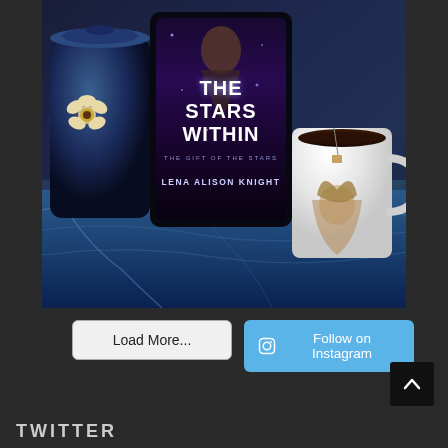[Figure (photo): Photo of an e-reader tablet displaying the book cover 'The Stars Within' by Lena Alison Knight, propped up next to a blue ceramic mug with a white flower decoration and a white coffee mug with an illustrated character, all sitting on a blue marbled surface.]
Load More...
Follow on Instagram
TWITTER